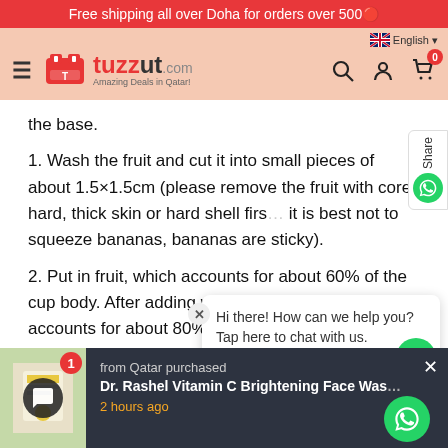Free shipping all over Doha for orders over 500🔴
[Figure (logo): Tuzzut.com logo with hamburger menu, search, account and cart icons. Navigation bar with peach/salmon background.]
the base.
1. Wash the fruit and cut it into small pieces of about 1.5×1.5cm (please remove the fruit with core, hard, thick skin or hard shell first, it is best not to squeeze bananas, bananas are sticky).
2. Put in fruit, which accounts for about 60% of the cup body. After adding water, the total amount accounts for about 80% of the cup body capacity.
Hi there! How can we help you? Tap here to chat with us.
from Qatar purchased
Dr. Rashel Vitamin C Brightening Face Wash
2 hours ago